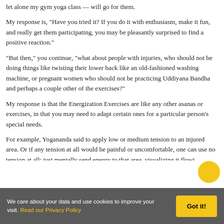let alone my gym yoga class — will go for them.
My response is, “Have you tried it? If you do it with enthusiasm, make it fun, and really get them participating, you may be pleasantly surprised to find a positive reaction.”
“But then,” you continue, “what about people with injuries, who should not be doing things like twisting their lower back like an old-fashioned washing machine, or pregnant women who should not be practicing Uddiyana Bandha and perhaps a couple other of the exercises?”
My response is that the Energization Exercises are like any other asanas or exercises, in that you may need to adapt certain ones for a particular person’s special needs.
For example, Yogananda said to apply low or medium tension to an injured area. Or if any tension at all would be painful or uncomfortable, one can use no tension at all: just mentally send energy to that area, visualizing it flowi…
We care about your data and use cookies to improve your visit. Read our Privacy Policy
Got it!